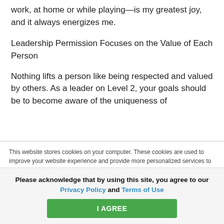work, at home or while playing—is my greatest joy, and it always energizes me.
Leadership Permission Focuses on the Value of Each Person
Nothing lifts a person like being respected and valued by others. As a leader on Level 2, your goals should be to become aware of the uniqueness of
This website stores cookies on your computer. These cookies are used to improve your website experience and provide more personalized services to you, both on this website and through other media. To find out more about the cookies we use, see our Privacy Policy.
We won't track your information when you visit our site. But in order to comply with your
Please acknowledge that by using this site, you agree to our Privacy Policy and Terms of Use
I AGREE